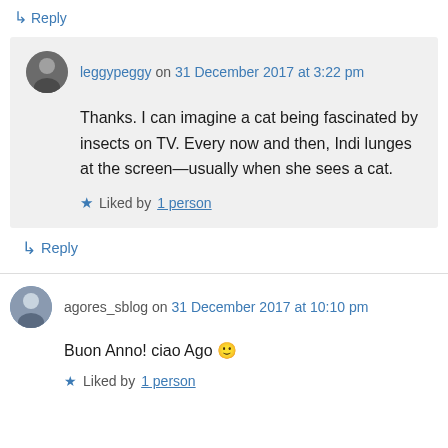↳ Reply
leggypeggy on 31 December 2017 at 3:22 pm
Thanks. I can imagine a cat being fascinated by insects on TV. Every now and then, Indi lunges at the screen—usually when she sees a cat.
★ Liked by 1 person
↳ Reply
agores_sblog on 31 December 2017 at 10:10 pm
Buon Anno! ciao Ago 🙂
★ Liked by 1 person